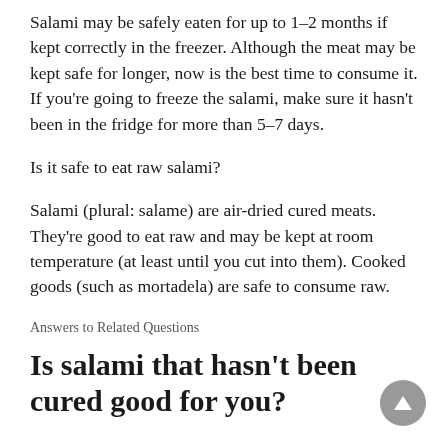Salami may be safely eaten for up to 1–2 months if kept correctly in the freezer. Although the meat may be kept safe for longer, now is the best time to consume it. If you're going to freeze the salami, make sure it hasn't been in the fridge for more than 5–7 days.
Is it safe to eat raw salami?
Salami (plural: salame) are air-dried cured meats. They're good to eat raw and may be kept at room temperature (at least until you cut into them). Cooked goods (such as mortadela) are safe to consume raw.
Answers to Related Questions
Is salami that hasn't been cured good for you?